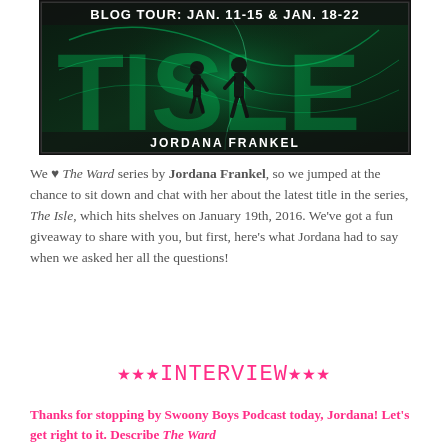[Figure (illustration): Book cover for 'The Isle' by Jordana Frankel with text 'BLOG TOUR: JAN. 11-15 & JAN. 18-22' at the top. Dark green and black background with two silhouetted figures and large stylized letters. Author name 'JORDANA FRANKEL' at the bottom.]
We ❤ The Ward series by Jordana Frankel, so we jumped at the chance to sit down and chat with her about the latest title in the series, The Isle, which hits shelves on January 19th, 2016. We've got a fun giveaway to share with you, but first, here's what Jordana had to say when we asked her all the questions!
★★★INTERVIEW★★★
Thanks for stopping by Swoony Boys Podcast today, Jordana! Let's get right to it. Describe The Ward